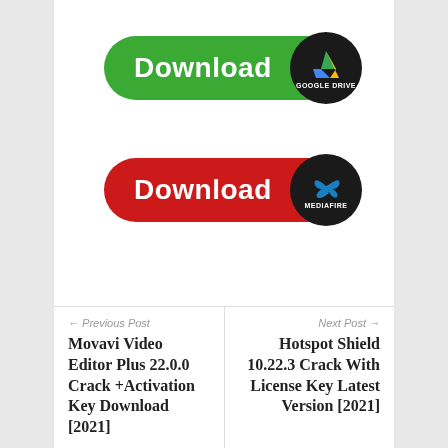[Figure (illustration): Green rounded rectangle download button with white bold text 'Download' and a black circle on the right containing the Google Drive logo (colorful triangle) and text 'GOOGLE DRIVE']
[Figure (illustration): Red rounded rectangle download button with white bold text 'Download' and a black circle on the right containing the MediaFire logo (blue swirl) and text 'MEDIAFIRE']
← Previous Post
Movavi Video Editor Plus 22.0.0 Crack +Activation Key Download [2021]
Next Post →
Hotspot Shield 10.22.3 Crack With License Key Latest Version [2021]